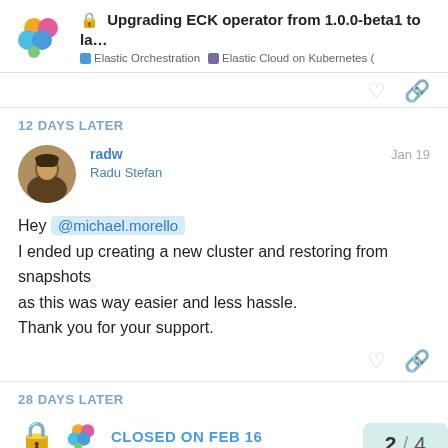Upgrading ECK operator from 1.0.0-beta1 to la... | Elastic Orchestration | Elastic Cloud on Kubernetes (
12 DAYS LATER
radw
Radu Stefan
Jan 19
Hey @michael.morello
I ended up creating a new cluster and restoring from snapshots as this was way easier and less hassle.
Thank you for your support.
28 DAYS LATER
CLOSED ON FEB 16
2 / 4